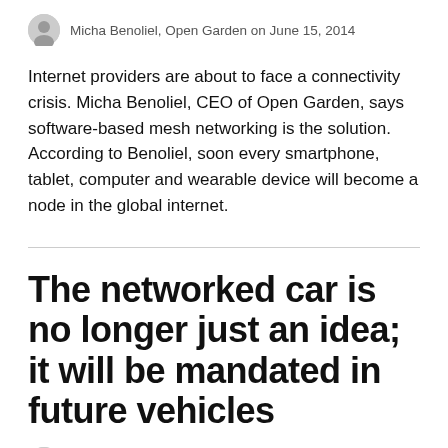Micha Benoliel, Open Garden on June 15, 2014
Internet providers are about to face a connectivity crisis. Micha Benoliel, CEO of Open Garden, says software-based mesh networking is the solution. According to Benoliel, soon every smartphone, tablet, computer and wearable device will become a node in the global internet.
The networked car is no longer just an idea; it will be mandated in future vehicles
on February 3, 2014